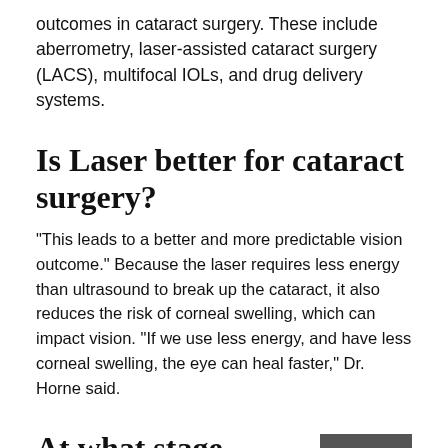outcomes in cataract surgery. These include aberrometry, laser-assisted cataract surgery (LACS), multifocal IOLs, and drug delivery systems.
Is Laser better for cataract surgery?
“This leads to a better and more predictable vision outcome.” Because the laser requires less energy than ultrasound to break up the cataract, it also reduces the risk of corneal swelling, which can impact vision. “If we use less energy, and have less corneal swelling, the eye can heal faster,” Dr. Horne said.
At what stage should cataracts be removed?
In short, if an individual has a cataract and resultant